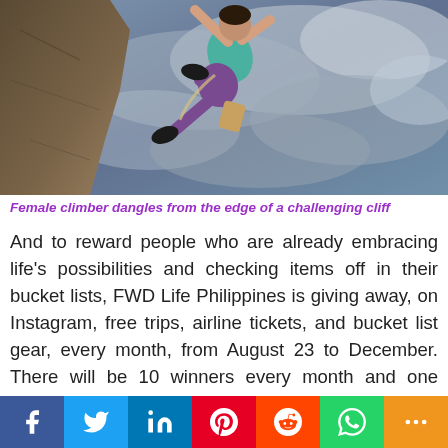[Figure (photo): Female climber dangles from the edge of a challenging cliff against a dramatic cloudy sky]
Female climber dangles from the edge of a challenging cliff
And to reward people who are already embracing life's possibilities and checking items off in their bucket lists, FWD Life Philippines is giving away, on Instagram, free trips, airline tickets, and bucket list gear, every month, from August 23 to December. There will be 10 winners every month and one winner